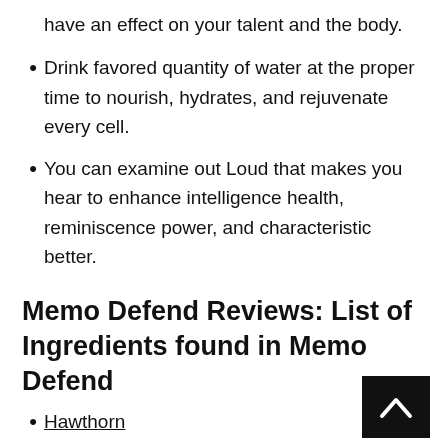have an effect on your talent and the body.
Drink favored quantity of water at the proper time to nourish, hydrates, and rejuvenate every cell.
You can examine out Loud that makes you hear to enhance intelligence health, reminiscence power, and characteristic better.
Memo Defend Reviews: List of Ingredients found in Memo Defend
Hawthorn
Garlic